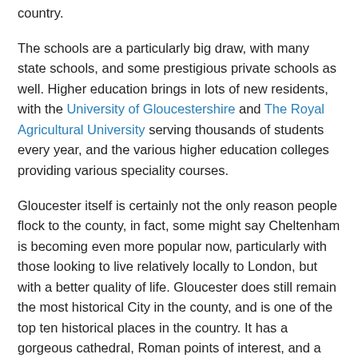country.
The schools are a particularly big draw, with many state schools, and some prestigious private schools as well. Higher education brings in lots of new residents, with the University of Gloucestershire and The Royal Agricultural University serving thousands of students every year, and the various higher education colleges providing various speciality courses.
Gloucester itself is certainly not the only reason people flock to the county, in fact, some might say Cheltenham is becoming even more popular now, particularly with those looking to live relatively locally to London, but with a better quality of life. Gloucester does still remain the most historical City in the county, and is one of the top ten historical places in the country. It has a gorgeous cathedral, Roman points of interest, and a docklands with a very rich history. Gloucester also has a fabulous range of shops, entertainment areas, attractions, eateries and events which shows in the